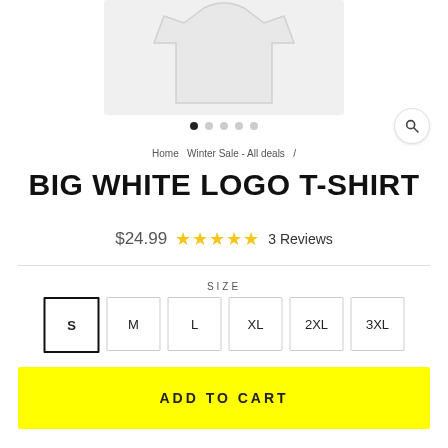[Figure (photo): White t-shirt product image on light gray background]
Home  Winter Sale - All deals  /
BIG WHITE LOGO T-SHIRT
$24.99  ★★★★★  3 Reviews
SIZE
S  M  L  XL  2XL  3XL
ADD TO CART